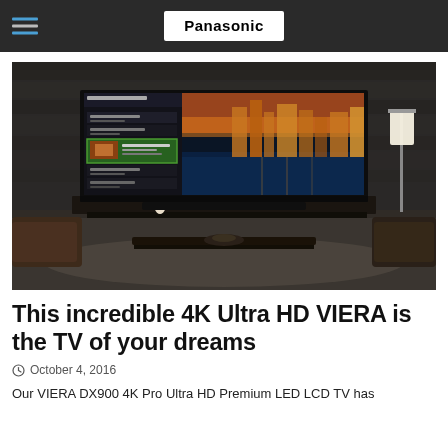Panasonic
[Figure (photo): Panasonic VIERA DX900 4K Ultra HD TV displayed in a dark, modern living room setting with leather sofas, a wooden coffee table, and a floor lamp. The TV shows a city skyline with water and an on-screen program guide.]
This incredible 4K Ultra HD VIERA is the TV of your dreams
October 4, 2016
Our VIERA DX900 4K Pro Ultra HD Premium LED LCD TV has